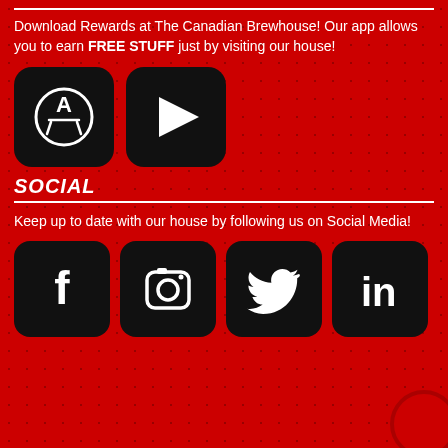Download Rewards at The Canadian Brewhouse! Our app allows you to earn FREE STUFF just by visiting our house!
[Figure (logo): Apple App Store icon (black rounded square with white compass/A logo) and Google Play Store icon (black rounded square with white play triangle)]
SOCIAL
Keep up to date with our house by following us on Social Media!
[Figure (logo): Four social media icons in black rounded squares: Facebook (f), Instagram (camera), Twitter (bird), LinkedIn (in)]